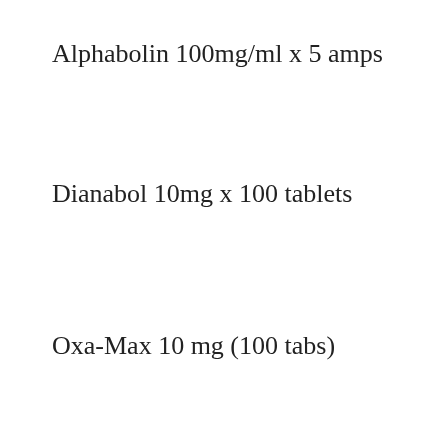Alphabolin 100mg/ml x 5 amps
Dianabol 10mg x 100 tablets
Oxa-Max 10 mg (100 tabs)